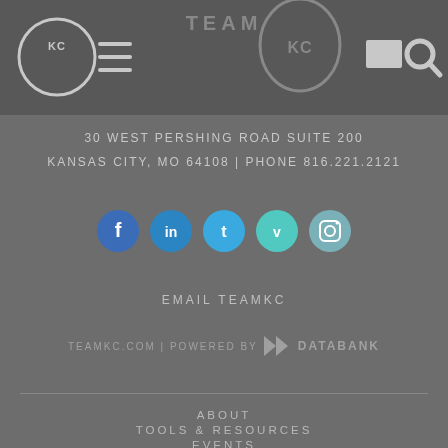[Figure (logo): Team KC website header navigation bar with KC logo circle on left, hamburger menu icon, TEAM KC logo in center, rectangle icon and search icon on right]
30 WEST PERSHING ROAD SUITE 200
KANSAS CITY, MO 64108 | PHONE 816.221.2121
[Figure (infographic): Social media icons row: Facebook (blue), LinkedIn (blue), Twitter (light blue), Vimeo (teal), Instagram (blue-grey)]
EMAIL TEAMKC
TEAMKC.COM | POWERED BY  DATABANK
ABOUT
TOOLS & RESOURCES
EVENTS
BLOG
KCADC